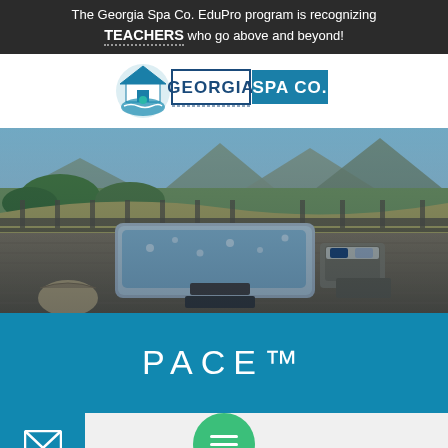The Georgia Spa Co. EduPro program is recognizing TEACHERS who go above and beyond!
[Figure (logo): Georgia Spa Co. logo with house icon and teal/blue branding]
[Figure (photo): Hot tub on a wooden deck with outdoor seating, mountains and green hills in background]
PACE™
[Figure (other): Email envelope icon on teal background (left) and green circular hamburger menu button (center)]